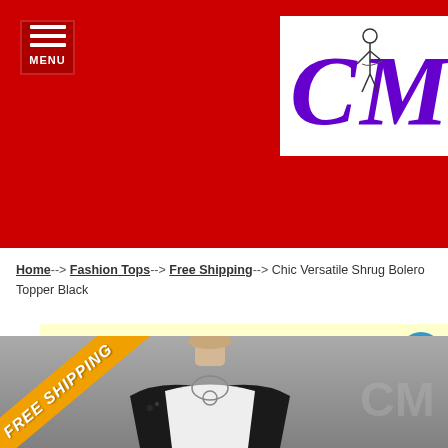[Figure (logo): CM fashion logo with purple stylized letters and figure illustration on white background, set against red header background with hamburger menu button]
[Figure (screenshot): Search bar with Fashion Tops dropdown and search input field on light yellow background]
Home --> Fashion Tops --> Free Shipping --> Chic Versatile Shrug Bolero Topper Black
[Figure (photo): Product photo of a black shrug bolero on a mannequin with white top, necklace, with FREE SHIPPING diagonal orange banner overlay]